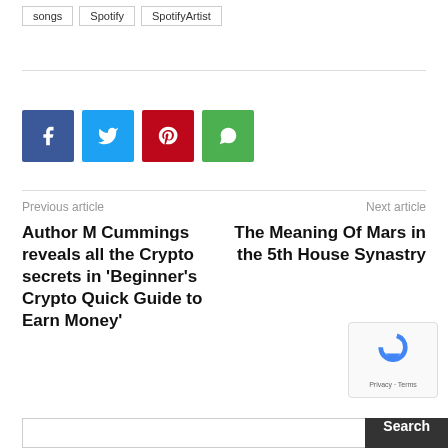songs
Spotify
SpotifyArtist
[Figure (infographic): Social share buttons: Facebook (blue), Twitter (light blue), Pinterest (red), WhatsApp (green)]
Previous article
Author M Cummings reveals all the Crypto secrets in 'Beginner's Crypto Quick Guide to Earn Money'
Next article
The Meaning Of Mars in the 5th House Synastry
[Figure (other): reCAPTCHA widget with Privacy and Terms links]
Search